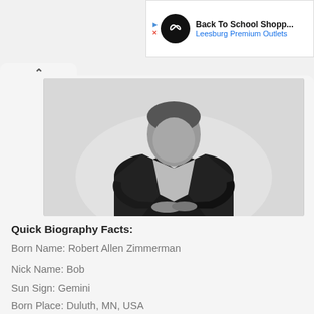[Figure (screenshot): Ad banner for Back To School Shopping at Leesburg Premium Outlets, showing a black circle logo with infinity-like symbol, play button icon, and close icon on the left.]
[Figure (photo): Black and white photo of a man in a dark blazer with arms crossed, photographed from the chest up against a light background.]
Quick Biography Facts:
Born Name: Robert Allen Zimmerman
Nick Name: Bob
Sun Sign: Gemini
Born Place: Duluth, MN, USA